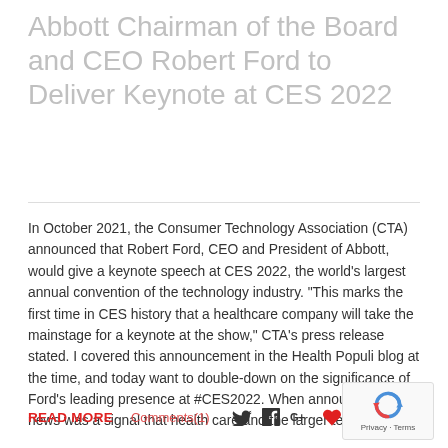Abbott Chairman of the Board and CEO Robert Ford to Deliver Keynote at CES 2022
In October 2021, the Consumer Technology Association (CTA) announced that Robert Ford, CEO and President of Abbott, would give a keynote speech at CES 2022, the world's largest annual convention of the technology industry. “This marks the first time in CES history that a healthcare company will take the mainstage for a keynote at the show,” CTA’s press release stated. I covered this announcement in the Health Populi blog at the time, and today want to double-down on the significance of Ford’s leading presence at #CES2022. When announced, the news was a signal that health care and the larger tech-enabled
READ MORE   Comments(1)